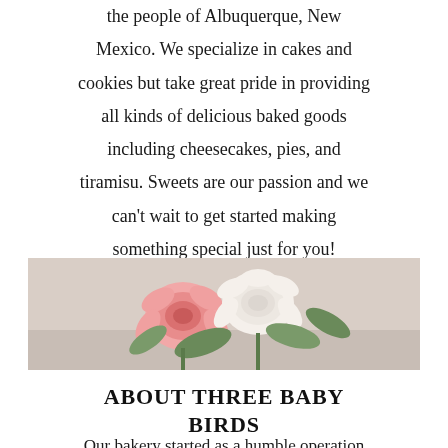the people of Albuquerque, New Mexico. We specialize in cakes and cookies but take great pride in providing all kinds of delicious baked goods including cheesecakes, pies, and tiramisu. Sweets are our passion and we can't wait to get started making something special just for you!
[Figure (photo): A photograph showing pink and white roses/ranunculus flowers with green leaves against a light neutral background.]
ABOUT THREE BABY BIRDS
Our bakery started as a humble operation making the occasional pie or cheesecake